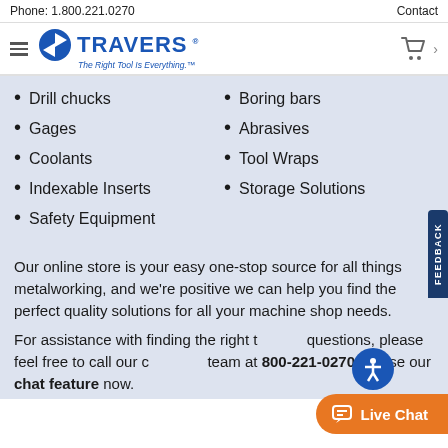Phone: 1.800.221.0270   Contact
[Figure (logo): Travers Tool Co. logo with hamburger menu and shopping cart icon. Text: TRAVERS The Right Tool Is Everything.]
Drill chucks
Gages
Coolants
Indexable Inserts
Safety Equipment
Boring bars
Abrasives
Tool Wraps
Storage Solutions
Our online store is your easy one-stop source for all things metalworking, and we're positive we can help you find the perfect quality solutions for all your machine shop needs.
For assistance with finding the right tools or questions, please feel free to call our customer team at 800-221-0270 or use our chat feature now.